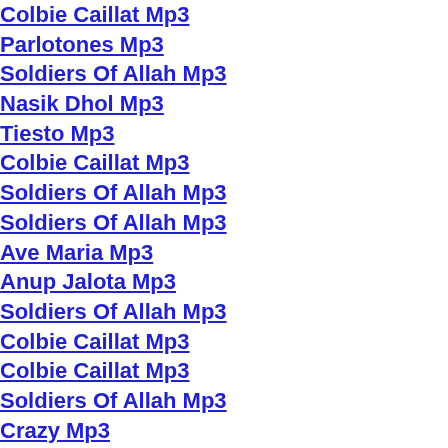Colbie Caillat Mp3
Parlotones Mp3
Soldiers Of Allah Mp3
Nasik Dhol Mp3
Tiesto Mp3
Colbie Caillat Mp3
Soldiers Of Allah Mp3
Soldiers Of Allah Mp3
Ave Maria Mp3
Anup Jalota Mp3
Soldiers Of Allah Mp3
Colbie Caillat Mp3
Colbie Caillat Mp3
Soldiers Of Allah Mp3
Crazy Mp3
Happy Birthday Mp3
Soldiers Of Allah Mp3
Soldiers Of Allah Mp3
Colbie Caillat Mp3
Crazy Mp3
Champions League Mp3
Colbie Caillat Mp3
Full Metal Alchemist Mp3
Colbie Caillat Mp3
Colbie Caillat Mp3
Colbie Caillat Mp3